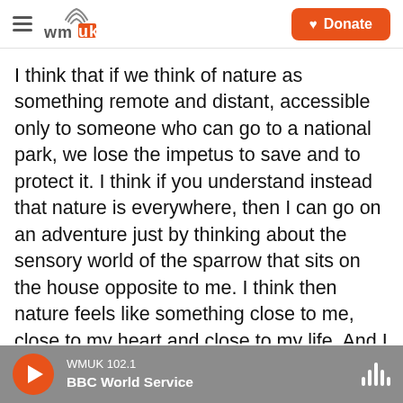WMUK | Donate
I think that if we think of nature as something remote and distant, accessible only to someone who can go to a national park, we lose the impetus to save and to protect it. I think if you understand instead that nature is everywhere, then I can go on an adventure just by thinking about the sensory world of the sparrow that sits on the house opposite to me. I think then nature feels like something close to me, close to my heart and close to my life. And I feel like if that's the case, people will be more motivated to try and protect it. Protecting nature isn't just about saving whales or pandas or what have you. It's about protecting even
WMUK 102.1 | BBC World Service